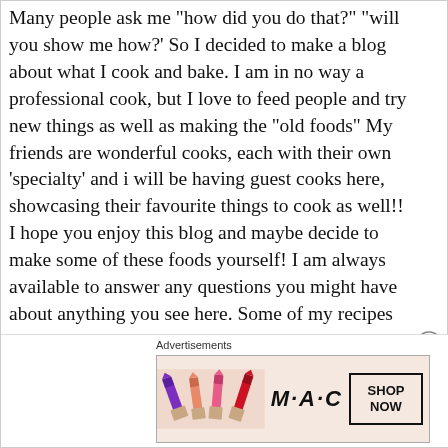Many people ask me "how did you do that?" "will you show me how?' So I decided to make a blog about what I cook and bake. I am in no way a professional cook, but I love to feed people and try new things as well as making the "old foods" My friends are wonderful cooks, each with their own 'specialty' and i will be having guest cooks here, showcasing their favourite things to cook as well!! I hope you enjoy this blog and maybe decide to make some of these foods yourself! I am always available to answer any questions you might have about anything you see here. Some of my recipes are unique to me but most
[Figure (other): Advertisement banner for MAC cosmetics showing lipsticks, MAC logo, and a SHOP NOW button]